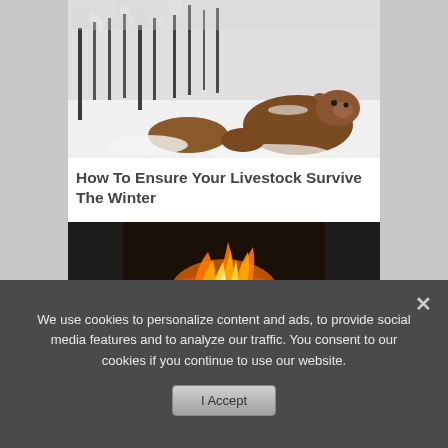[Figure (photo): Brown cows lying in a snowy forest with snow-covered trees in the background]
How To Ensure Your Livestock Survive The Winter
[Figure (photo): A fireplace with burning logs and bright orange flames in a dark setting]
We use cookies to personalize content and ads, to provide social media features and to analyze our traffic. You consent to our cookies if you continue to use our website.